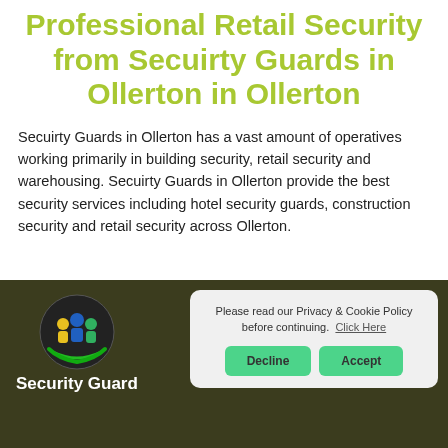Professional Retail Security from Secuirty Guards in Ollerton in Ollerton
Secuirty Guards in Ollerton has a vast amount of operatives working primarily in building security, retail security and warehousing. Secuirty Guards in Ollerton provide the best security services including hotel security guards, construction security and retail security across Ollerton.
[Figure (logo): Security Guard company logo: circular icon with stylized people figures in blue, green, yellow and black on white background]
Security Guard
Please read our Privacy & Cookie Policy before continuing. Click Here
Decline
Accept